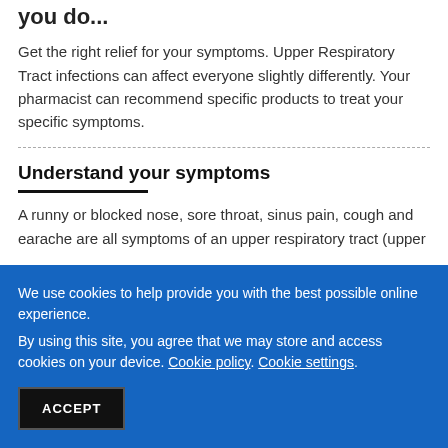you do...
Get the right relief for your symptoms. Upper Respiratory Tract infections can affect everyone slightly differently. Your pharmacist can recommend specific products to treat your specific symptoms.
Understand your symptoms
A runny or blocked nose, sore throat, sinus pain, cough and earache are all symptoms of an upper respiratory tract (upper
We use cookies to help provide you with the best possible online experience.
By using this site, you agree that we may store and access cookies on your device. Cookie policy. Cookie settings.